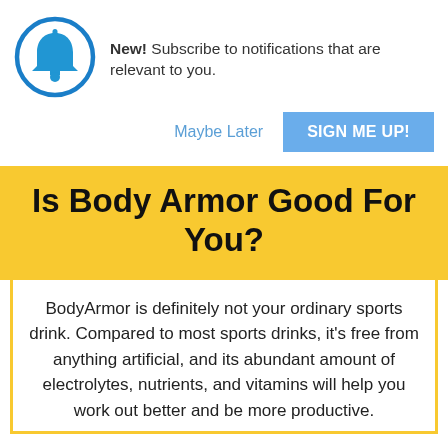[Figure (illustration): Blue bell notification icon inside a blue circle]
New! Subscribe to notifications that are relevant to you.
Maybe Later
SIGN ME UP!
Is Body Armor Good For You?
BodyArmor is definitely not your ordinary sports drink. Compared to most sports drinks, it's free from anything artificial, and its abundant amount of electrolytes, nutrients, and vitamins will help you work out better and be more productive.
However, keep in mind that it shouldn't